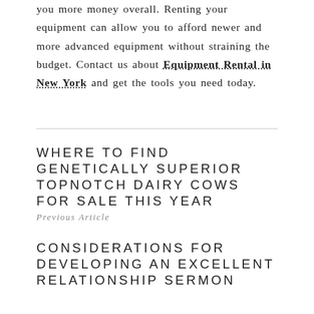you more money overall. Renting your equipment can allow you to afford newer and more advanced equipment without straining the budget. Contact us about Equipment Rental in New York and get the tools you need today.
WHERE TO FIND GENETICALLY SUPERIOR TOPNOTCH DAIRY COWS FOR SALE THIS YEAR
Previous Article
CONSIDERATIONS FOR DEVELOPING AN EXCELLENT RELATIONSHIP SERMON